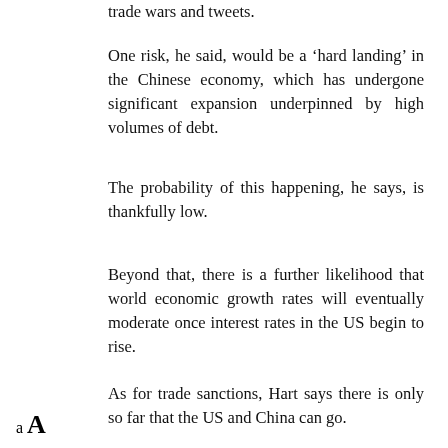trade wars and tweets.
One risk, he said, would be a ‘hard landing’ in the Chinese economy, which has undergone significant expansion underpinned by high volumes of debt.
The probability of this happening, he says, is thankfully low.
Beyond that, there is a further likelihood that world economic growth rates will eventually moderate once interest rates in the US begin to rise.
As for trade sanctions, Hart says there is only so far that the US and China can go.